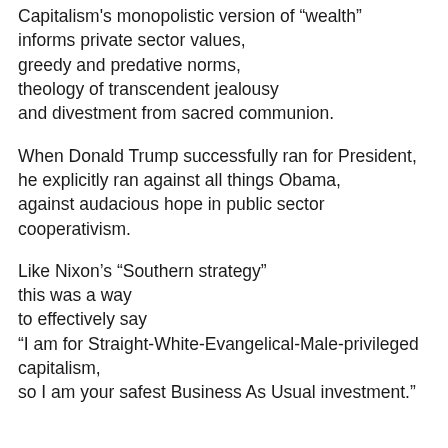Capitalism's monopolistic version of “wealth” informs private sector values, greedy and predative norms, theology of transcendent jealousy and divestment from sacred communion.
When Donald Trump successfully ran for President, he explicitly ran against all things Obama, against audacious hope in public sector cooperativism.
Like Nixon’s “Southern strategy” this was a way to effectively say “I am for Straight-White-Evangelical-Male-privileged capitalism, so I am your safest Business As Usual investment.”